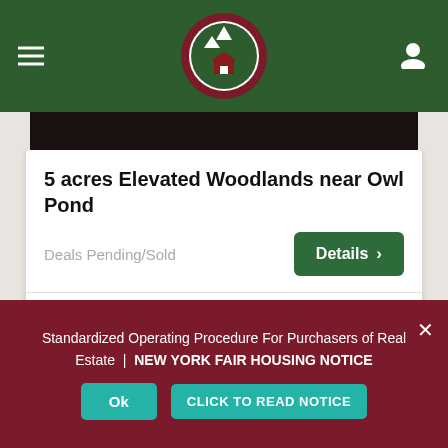Navigation header with logo
5 acres Elevated Woodlands near Owl Pond
Deals Pending/Sold
Pete Martino, Licensed Real Estate Broker/Owner  |  4 years ago
[Figure (photo): Exterior photo of a cabin/house with green trees and a SOLD badge]
Standardized Operating Procedure For Purchasers of Real Estate | NEW YORK FAIR HOUSING NOTICE